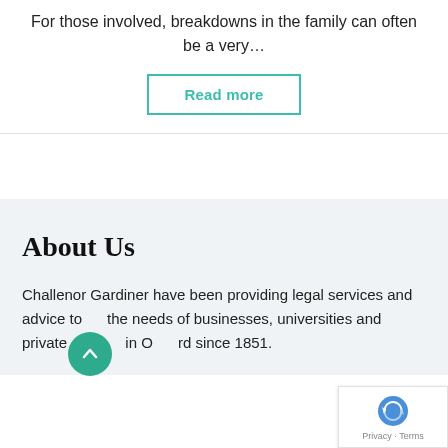For those involved, breakdowns in the family can often be a very…
Read more
About Us
Challenor Gardiner have been providing legal services and advice to the needs of businesses, universities and private in Oxford since 1851.